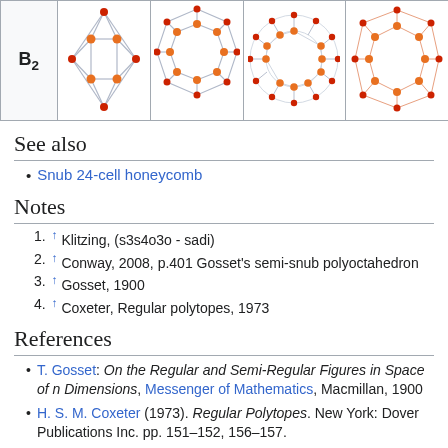[Figure (other): Table row labeled B2 with four graph diagrams showing nodes and edges in orange and red on white background]
See also
Snub 24-cell honeycomb
Notes
↑ Klitzing, (s3s4o3o - sadi)
↑ Conway, 2008, p.401 Gosset's semi-snub polyoctahedron
↑ Gosset, 1900
↑ Coxeter, Regular polytopes, 1973
References
T. Gosset: On the Regular and Semi-Regular Figures in Space of n Dimensions, Messenger of Mathematics, Macmillan, 1900
H. S. M. Coxeter (1973). Regular Polytopes. New York: Dover Publications Inc. pp. 151–152, 156–157.